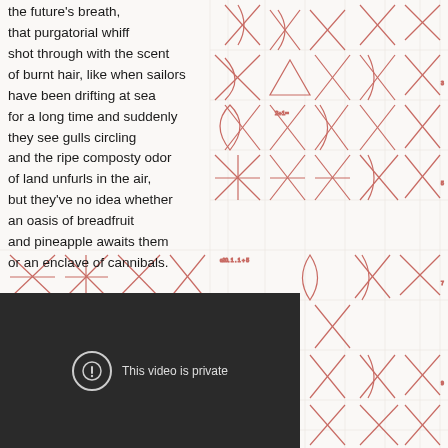the future's breath,
that purgatorial whiff
shot through with the scent
of burnt hair, like when sailors
have been drifting at sea
for a long time and suddenly
they see gulls circling
and the ripe composty odor
of land unfurls in the air,
but they've no idea whether
an oasis of breadfruit
and pineapple awaits them
or an enclave of cannibals.
[Figure (illustration): Red pencil sketch drawings on grid paper, showing repeated abstract symbols resembling crossed arrows, leaf or teardrop shapes, and X marks arranged in a grid pattern across the right half and background of the page.]
[Figure (screenshot): Dark video player overlay showing a circle with exclamation mark icon and text 'This video is private'.]